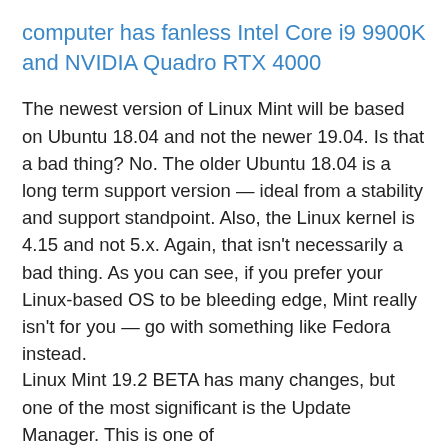computer has fanless Intel Core i9 9900K and NVIDIA Quadro RTX 4000
The newest version of Linux Mint will be based on Ubuntu 18.04 and not the newer 19.04. Is that a bad thing? No. The older Ubuntu 18.04 is a long term support version — ideal from a stability and support standpoint. Also, the Linux kernel is 4.15 and not 5.x. Again, that isn't necessarily a bad thing. As you can see, if you prefer your Linux-based OS to be bleeding edge, Mint really isn't for you — go with something like Fedora instead.
Linux Mint 19.2 BETA has many changes, but one of the most significant is the Update Manager. This is one of